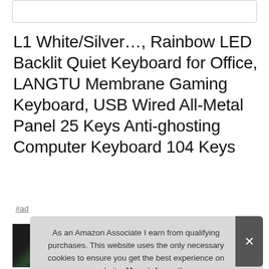L1 White/Silver…, Rainbow LED Backlit Quiet Keyboard for Office, LANGTU Membrane Gaming Keyboard, USB Wired All-Metal Panel 25 Keys Anti-ghosting Computer Keyboard 104 Keys
#ad
[Figure (photo): Partial product thumbnail showing a dark keyboard with green/colorful keys]
As an Amazon Associate I earn from qualifying purchases. This website uses the only necessary cookies to ensure you get the best experience on our website. More information